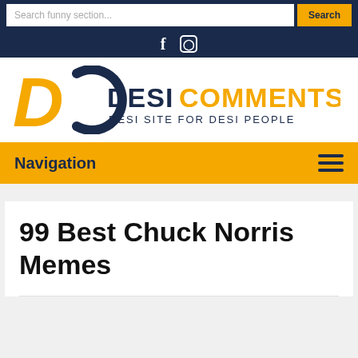Search funny section... Search
[Figure (logo): DesiComments logo with DC letters and text 'DESICOMMENTS DESI SITE FOR DESI PEOPLE']
Navigation
99 Best Chuck Norris Memes